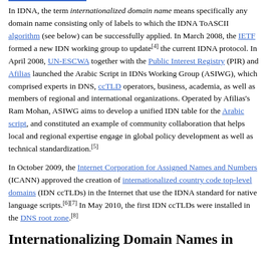In IDNA, the term internationalized domain name means specifically any domain name consisting only of labels to which the IDNA ToASCII algorithm (see below) can be successfully applied. In March 2008, the IETF formed a new IDN working group to update[4] the current IDNA protocol. In April 2008, UN-ESCWA together with the Public Interest Registry (PIR) and Afilias launched the Arabic Script in IDNs Working Group (ASIWG), which comprised experts in DNS, ccTLD operators, business, academia, as well as members of regional and international organizations. Operated by Afilias's Ram Mohan, ASIWG aims to develop a unified IDN table for the Arabic script, and constituted an example of community collaboration that helps local and regional expertise engage in global policy development as well as technical standardization.[5]
In October 2009, the Internet Corporation for Assigned Names and Numbers (ICANN) approved the creation of internationalized country code top-level domains (IDN ccTLDs) in the Internet that use the IDNA standard for native language scripts.[6][7] In May 2010, the first IDN ccTLDs were installed in the DNS root zone.[8]
Internationalizing Domain Names in